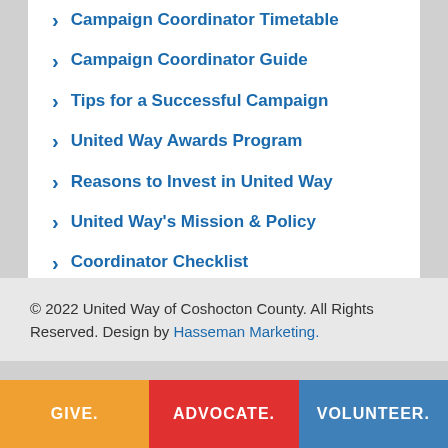Campaign Coordinator Timetable
Campaign Coordinator Guide
Tips for a Successful Campaign
United Way Awards Program
Reasons to Invest in United Way
United Way's Mission & Policy
Coordinator Checklist
© 2022 United Way of Coshocton County. All Rights Reserved. Design by Hasseman Marketing.
GIVE. ADVOCATE. VOLUNTEER.